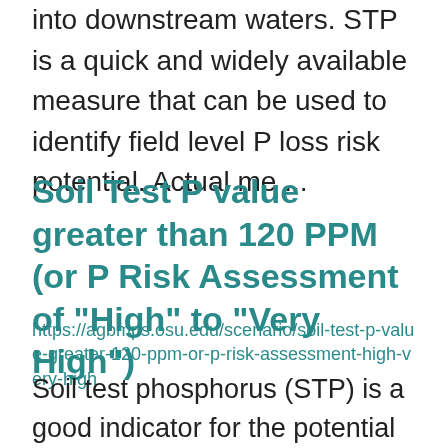into downstream waters. STP is a quick and widely available measure that can be used to identify field level P loss risk potential. Actual me ...
Soil Test P value greater than 120 PPM (or P Risk Assessment of "High" to "Very High")
https://agbmps.osu.edu/scenario/soil-test-p-value-greater-120-ppm-or-p-risk-assessment-high-very-high
Soil test phosphorus (STP) is a good indicator for the potential risk of phosphorus movement at the edge-of-field into downstream waters. STP is a quick